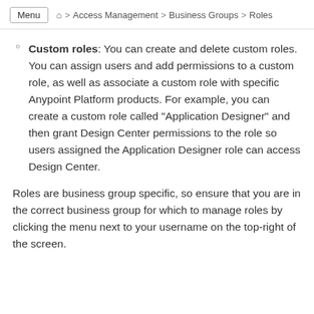Menu ⌂ > Access Management > Business Groups > Roles
Custom roles: You can create and delete custom roles. You can assign users and add permissions to a custom role, as well as associate a custom role with specific Anypoint Platform products. For example, you can create a custom role called "Application Designer" and then grant Design Center permissions to the role so users assigned the Application Designer role can access Design Center.
Roles are business group specific, so ensure that you are in the correct business group for which to manage roles by clicking the menu next to your username on the top-right of the screen.